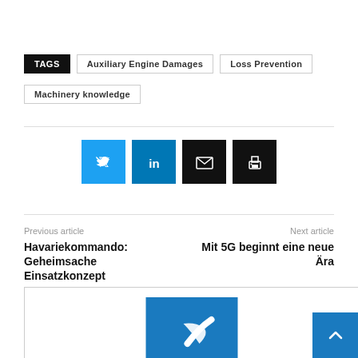TAGS  Auxiliary Engine Damages  Loss Prevention  Machinery knowledge
[Figure (infographic): Social share buttons: Twitter (blue), LinkedIn (dark blue), Email (black), Print (black)]
Previous article
Havariekommando: Geheimsache Einsatzkonzept
Next article
Mit 5G beginnt eine neue Ära
[Figure (photo): Bottom card with blue logo image and scroll-to-top button]